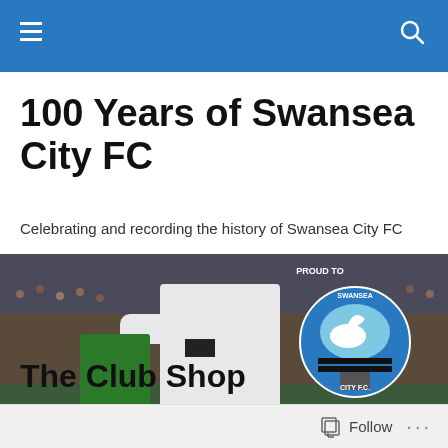[Navigation bar with hamburger menu and search icon]
100 Years of Swansea City FC
Celebrating and recording the history of Swansea City FC
[Figure (photo): Football match action photo featuring a player in a white Swansea City kit. Swansea City FC club badge visible with text 'PROUD TO BE A SWAN']
The Club Shop
Follow ...